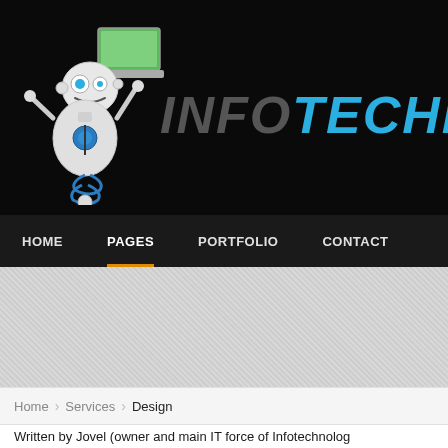[Figure (logo): InfoTechnologist website header with robot mascot illustration holding a laptop and blue/grey INFOTECHNOLOGIST logo text on black background]
HOME  PAGES  PORTFOLIO  CONTACT
[Figure (screenshot): Gray textured banner area with partial dark element on right side]
Home › Services › Design
Written by Jovel (owner and main IT force of Infotechnolog...